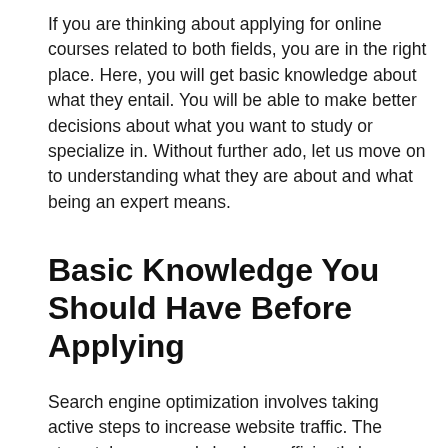If you are thinking about applying for online courses related to both fields, you are in the right place. Here, you will get basic knowledge about what they entail. You will be able to make better decisions about what you want to study or specialize in. Without further ado, let us move on to understanding what they are about and what being an expert means.
Basic Knowledge You Should Have Before Applying
Search engine optimization involves taking active steps to increase website traffic. The steps taken can only be done efficiently by trained/qualified professionals, and is aimed at